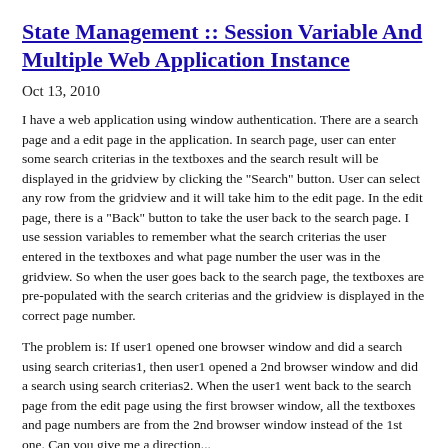State Management :: Session Variable And Multiple Web Application Instance
Oct 13, 2010
I have a web application using window authentication. There are a search page and a edit page in the application. In search page, user can enter some search criterias in the textboxes and the search result will be displayed in the gridview by clicking the "Search" button. User can select any row from the gridview and it will take him to the edit page. In the edit page, there is a "Back" button to take the user back to the search page. I use session variables to remember what the search criterias the user entered in the textboxes and what page number the user was in the gridview. So when the user goes back to the search page, the textboxes are pre-populated with the search criterias and the gridview is displayed in the correct page number.
The problem is: If user1 opened one browser window and did a search using search criterias1, then user1 opened a 2nd browser window and did a search using search criterias2. When the user1 went back to the search page from the edit page using the first browser window, all the textboxes and page numbers are from the 2nd browser window instead of the 1st one. Can you give me a direction...